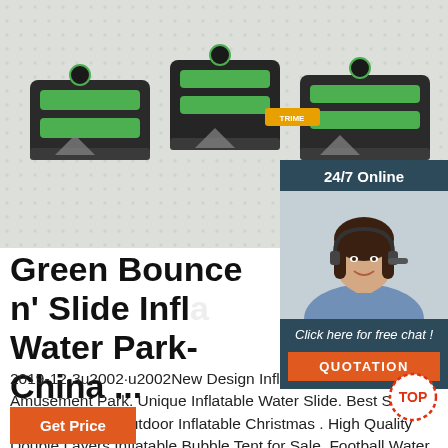[Figure (photo): Product image of Green Bounce n Slide Inflatable Water Park modules arranged in a chain, with dark and green colored inflatable pieces on a dotted surface, with a detail circle inset top right with red dashed arrow]
[Figure (photo): Sidebar: 24/7 Online customer service agent photo - smiling woman with headset on dark blue background, with Click here for free chat and QUOTATION button]
Green Bounce n' Slide Inflatable Water Park-China ...
2019-12-3u2002·u2002New Design Inflatable Bouncer for Amusement Park. Unique Inflatable Water Slide. Best Selling Custom Cheap Outdoor Inflatable Christmas . High Quality Double Layers Inflatable Bubble Tent for Sale. Football Water Ball. Full Color Water Ball. Water Coconut ball. Single Water Roller. Water Soccer Bubble Ball. Color Strips Water Ball
[Figure (other): TOP badge - circular dotted red border with TOP text]
Get Price